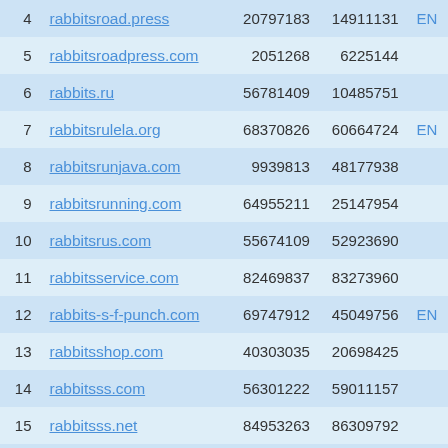| # | Domain | Col3 | Col4 | Flag |
| --- | --- | --- | --- | --- |
| 4 | rabbitsroad.press | 20797183 | 14911131 | EN |
| 5 | rabbitsroadpress.com | 2051268 | 6225144 |  |
| 6 | rabbits.ru | 56781409 | 10485751 |  |
| 7 | rabbitsrulela.org | 68370826 | 60664724 | EN |
| 8 | rabbitsrunjava.com | 9939813 | 48177938 |  |
| 9 | rabbitsrunning.com | 64955211 | 25147954 |  |
| 10 | rabbitsrus.com | 55674109 | 52923690 |  |
| 11 | rabbitsservice.com | 82469837 | 83273960 |  |
| 12 | rabbits-s-f-punch.com | 69747912 | 45049756 | EN |
| 13 | rabbitsshop.com | 40303035 | 20698425 |  |
| 14 | rabbitsss.com | 56301222 | 59011157 |  |
| 15 | rabbitsss.net | 84953263 | 86309792 |  |
| 16 | rabbits.studio | 39407950 | 15419953 |  |
| 17 | rabbits.supplies | 25329703 | 38559142 |  |
| 18 | ... | ... | ... |  |